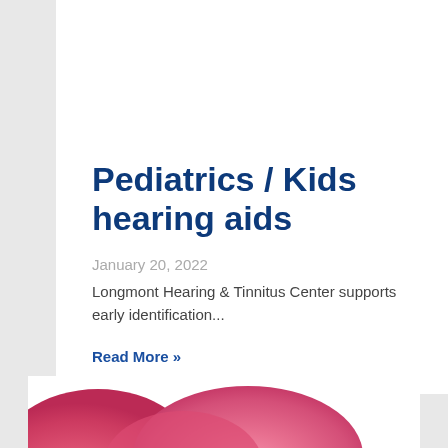Pediatrics / Kids hearing aids
January 20, 2022
Longmont Hearing & Tinnitus Center supports early identification...
Read More »
[Figure (photo): Partial view of pink/red colored hearing aids at the bottom of the page]